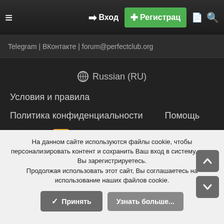≡  ➡ Вход  + Регистрац  🗎  🔍
Telegram | ВКонтакте | forum@perfectclub.org
🌐 Russian (RU)
Условия и правила
Политика конфиденциальности    Помощь
Главная  [RSS]
На данном сайте используются файлы cookie, чтобы персонализировать контент и сохранить Ваш вход в систему, если Вы зарегистрируетесь.
Продолжая использовать этот сайт, Вы соглашаетесь на использование наших файлов cookie.
✔ Принять    Узнать больше...